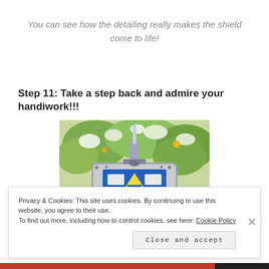You can see how the detailing really makes the shield come to life!
Step 11: Take a step back and admire your handiwork!!!
[Figure (photo): Photo of a Zelda shield prop with a sword on top, set against a background of white and yellow flowers and foliage.]
Privacy & Cookies: This site uses cookies. By continuing to use this website, you agree to their use. To find out more, including how to control cookies, see here: Cookie Policy